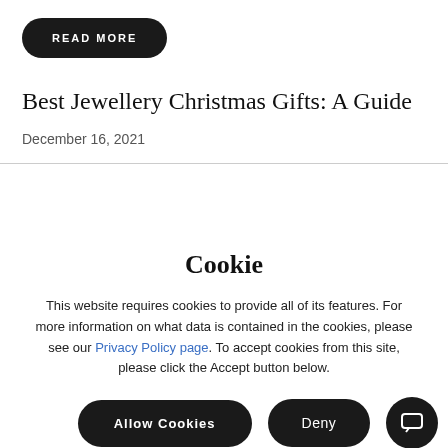READ MORE
Best Jewellery Christmas Gifts: A Guide
December 16, 2021
Cookie
This website requires cookies to provide all of its features. For more information on what data is contained in the cookies, please see our Privacy Policy page. To accept cookies from this site, please click the Accept button below.
Allow Cookies
Deny